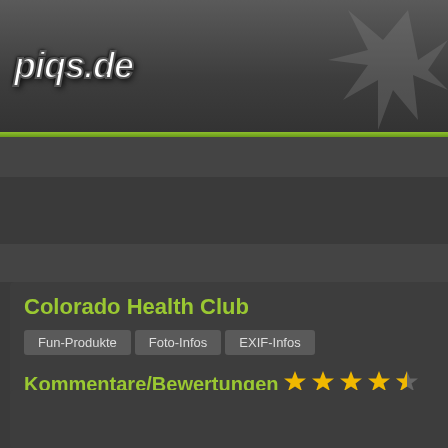piqs.de
Foto-Suche    Erweiterte Suche
Colorado Health Club
Fun-Produkte | Foto-Infos | EXIF-Infos
Kommentare/Bewertungen
Kommentare anzeigen/verfassen